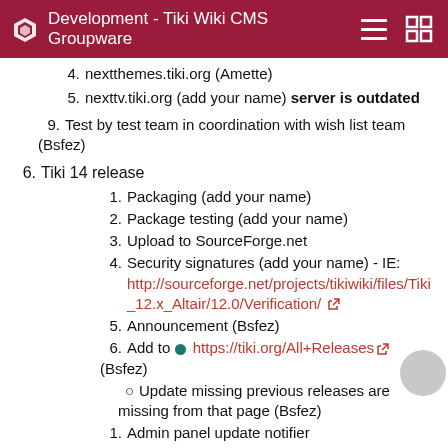Development - Tiki Wiki CMS Groupware
4. nextthemes.tiki.org (Amette)
5. nexttv.tiki.org (add your name) server is outdated
9. Test by test team in coordination with wish list team (Bsfez)
6. Tiki 14 release
1. Packaging (add your name)
2. Package testing (add your name)
3. Upload to SourceForge.net
4. Security signatures (add your name) - IE: http://sourceforge.net/projects/tikiwiki/files/Tiki_12.x_Altair/12.0/Verification/
5. Announcement (Bsfez)
6. Add to https://tiki.org/All+Releases (Bsfez)
o Update missing previous releases are missing from that page (Bsfez)
1. Admin panel update notifier